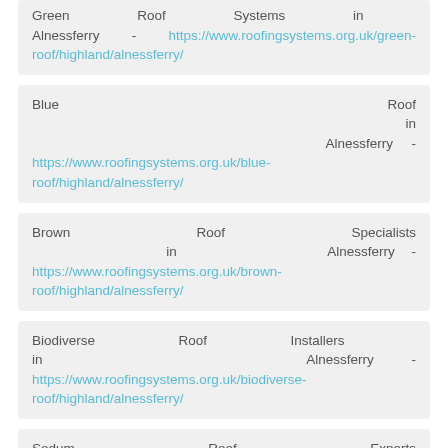Green Roof Systems in Alnessferry - https://www.roofingsystems.org.uk/green-roof/highland/alnessferry/
Blue Roof in Alnessferry - https://www.roofingsystems.org.uk/blue-roof/highland/alnessferry/
Brown Roof Specialists in Alnessferry - https://www.roofingsystems.org.uk/brown-roof/highland/alnessferry/
Biodiverse Roof Installers in Alnessferry - https://www.roofingsystems.org.uk/biodiverse-roof/highland/alnessferry/
Sedum Roof Experts in Alnessferry - https://www.roofingsystems.org.uk/sedum-roof/highland/alnessferry/